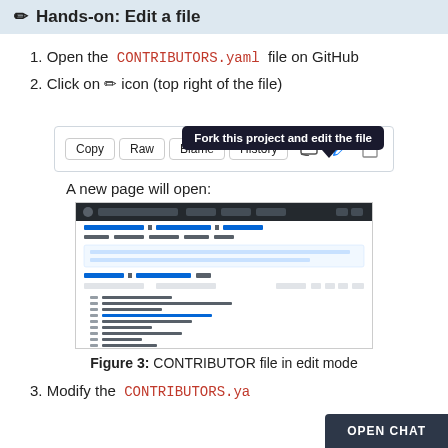✏ Hands-on: Edit a file
1. Open the CONTRIBUTORS.yaml file on GitHub
2. Click on ✏ icon (top right of the file)
[Figure (screenshot): GitHub file toolbar showing Copy, Raw, Blame, History buttons and edit (pencil) icon, with a tooltip reading 'Fork this project and edit the file']
A new page will open:
[Figure (screenshot): Screenshot of GitHub edit page showing the CONTRIBUTORS.yaml file open in edit mode with file content visible]
Figure 3: CONTRIBUTOR file in edit mode
3. Modify the CONTRIBUTORS.yaml